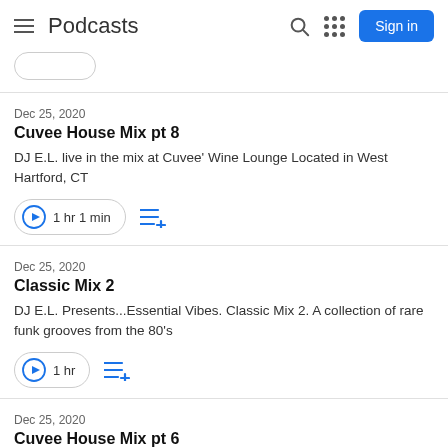Podcasts
Dec 25, 2020
Cuvee House Mix pt 8
DJ E.L. live in the mix at Cuvee' Wine Lounge Located in West Hartford, CT
1 hr 1 min
Dec 25, 2020
Classic Mix 2
DJ E.L. Presents...Essential Vibes. Classic Mix 2. A collection of rare funk grooves from the 80's
1 hr
Dec 25, 2020
Cuvee House Mix pt 6